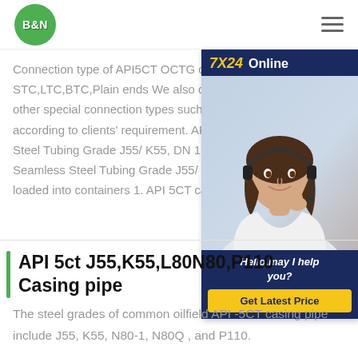[Figure (logo): B&N company logo: green circle with white bold text B&N]
Connection type of API5CT OCTG casing STC,LTC,BTC,Plain ends We also can other special connection types such as according to clients' requirement. API 5 Steel Tubing Grade J55/ K55, DN 13"3 Seamless Steel Tubing Grade J55/ K5 loaded into containers 1. API 5CT casi
[Figure (infographic): 7X24 Online chat widget with woman wearing headset, 'Hello,may I help you?' tagline and 'Get Latest Price' yellow button on dark blue background]
API 5ct J55,K55,L80N80,P110 Casing pipe
The steel grades of common oilfield API -5CT casing pipe include J55, K55, N80-1, N80Q , and P110.